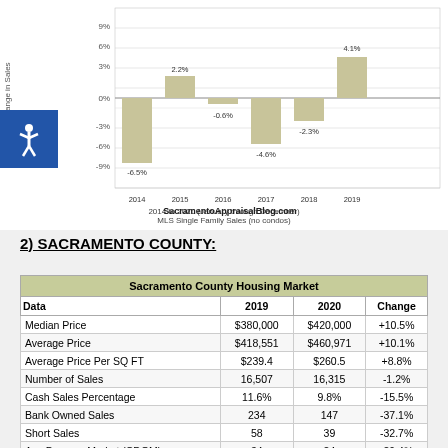[Figure (bar-chart): Annual % Change in Sales 2014 to 2020 (January through December) MLS Single Family Sales (no condos)]
SacramentoAppraisalBlog.com
2) SACRAMENTO COUNTY:
| Sacramento County Housing Market |  |  |  |
| --- | --- | --- | --- |
| Data | 2019 | 2020 | Change |
| Median Price | $380,000 | $420,000 | +10.5% |
| Average Price | $418,551 | $460,971 | +10.1% |
| Average Price Per SQ FT | $239.4 | $260.5 | +8.8% |
| Number of Sales | 16,507 | 16,315 | -1.2% |
| Cash Sales Percentage | 11.6% | 9.8% | -15.5% |
| Bank Owned Sales | 234 | 147 | -37.1% |
| Short Sales | 58 | 39 | -32.7% |
| Avg Days on Market (CDOM) | 34 | 24 | -29.4% |